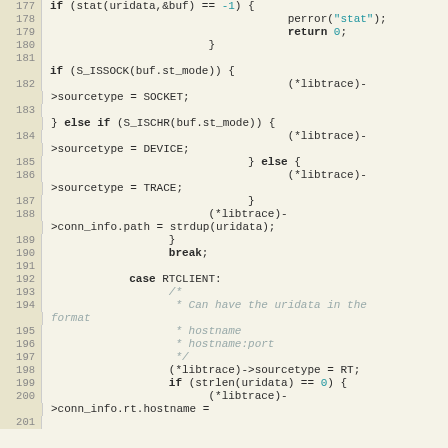[Figure (screenshot): Source code snippet in C showing file/socket type detection and connection info setup, lines 177-201]